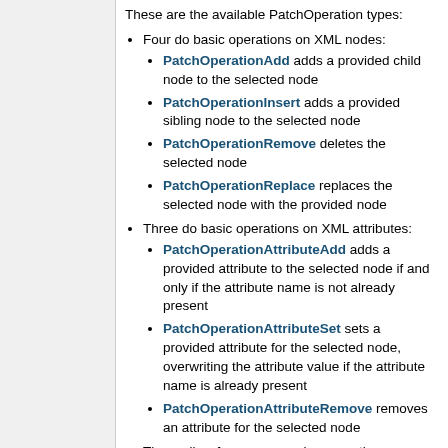These are the available PatchOperation types:
Four do basic operations on XML nodes:
PatchOperationAdd adds a provided child node to the selected node
PatchOperationInsert adds a provided sibling node to the selected node
PatchOperationRemove deletes the selected node
PatchOperationReplace replaces the selected node with the provided node
Three do basic operations on XML attributes:
PatchOperationAttributeAdd adds a provided attribute to the selected node if and only if the attribute name is not already present
PatchOperationAttributeSet sets a provided attribute for the selected node, overwriting the attribute value if the attribute name is already present
PatchOperationAttributeRemove removes an attribute for the selected node
Three allow for more complex operations: